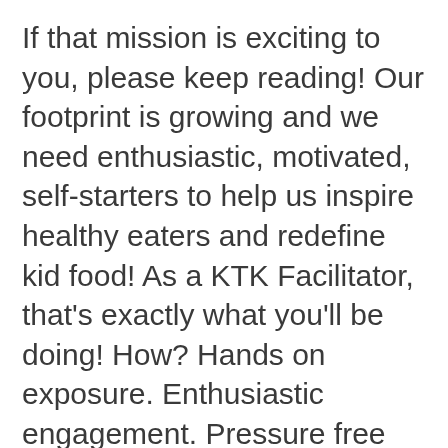If that mission is exciting to you, please keep reading! Our footprint is growing and we need enthusiastic, motivated, self-starters to help us inspire healthy eaters and redefine kid food! As a KTK Facilitator, that's exactly what you'll be doing! How? Hands on exposure. Enthusiastic engagement. Pressure free tasting opportunities. Take-home messaging and food!